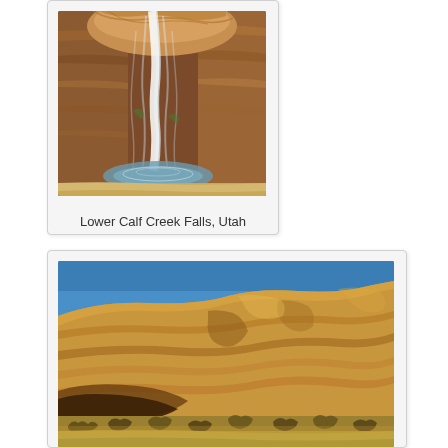[Figure (photo): Waterfall cascading down orange-red sandstone canyon walls into a pool at Lower Calf Creek Falls, Utah]
Lower Calf Creek Falls, Utah
[Figure (photo): Large golden sandstone cliff face with layered rock striations under a blue sky with sparse desert vegetation in the foreground]